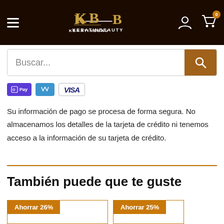KeratinBeauty – header with logo, hamburger menu, user icon, cart (0)
Buscar...
[Figure (logo): Payment method icons: Apple Pay, Venmo, Visa]
Su información de pago se procesa de forma segura. No almacenamos los detalles de la tarjeta de crédito ni tenemos acceso a la información de su tarjeta de crédito.
También puede que te guste
Ahorrar 26%
Ahorrar 25%